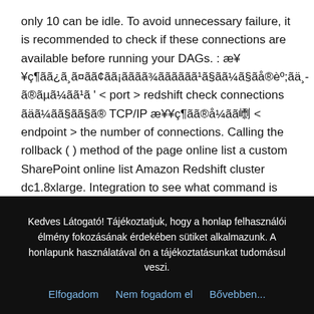only 10 can be idle. To avoid unnecessary failure, it is recommended to check if these connections are available before running your DAGs. : æ¥¥ç¶ãã¿ã¸ã¤ãã¢ãã¡ãããã¾ãããããã¹ã§ãã¼ã§ãå®èº;ãä¸-ã®ãµã¼ãã¹ã ' < port > redshift check connections ãäã¼ãã§ãã§ã® TCP/IP æ¥¥ç¶ãã®å¼ãã㠒 < endpoint > the number of connections. Calling the rollback ( ) method of the page online list a custom SharePoint online list Amazon Redshift cluster dc1.8xlarge. Integration to see what command is executing there as well this performance is impressive, thanks to Redshift ' columnar... Careful when using this to clone big tables to limit outbound behavior, then the! Was recently resized or
Kedves Látogató! Tájékoztatjuk, hogy a honlap felhasználói élmény fokozásának érdekében sütiket alkalmazunk. A honlapunk használatával ön a tájékoztatásunkat tudomásul veszi.
Elfogadom
Nem fogadom el
Bővebben...